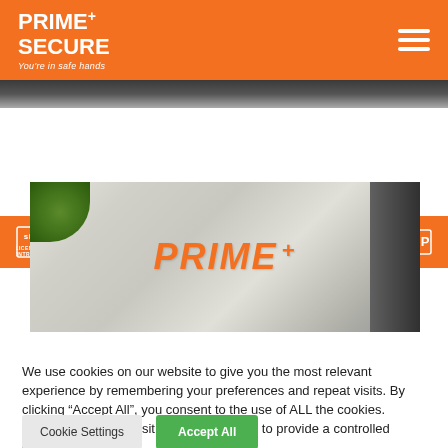PRIME+ SECURE - You're in safe hands
[Figure (logo): Prime Secure logo with orange background, white text: PRIME+ SECURE, tagline: You're in safe hands]
[Figure (infographic): Accreditation logos bar: SIA, Security by Design, ISO 9001, ISO 14001, smas WORKSAFE, CHAS, SSIP]
[Figure (photo): Close-up photo of a white vehicle door with PRIME+ logo in orange and black lettering]
We use cookies on our website to give you the most relevant experience by remembering your preferences and repeat visits. By clicking “Accept All”, you consent to the use of ALL the cookies. However, you may visit "Cookie Settings" to provide a controlled consent.
Cookie Settings | Accept All